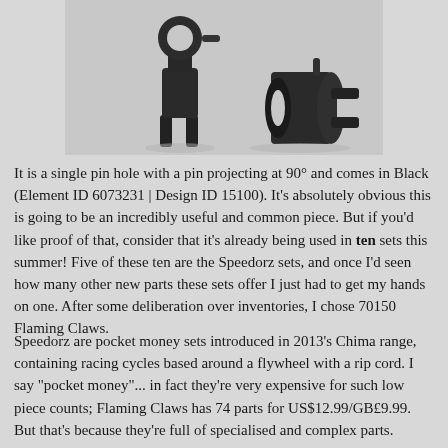[Figure (photo): Two black LEGO Technic pin connector pieces photographed on a light grey background. One stands upright showing its ring-top and fork base, the other lies on its side showing the cylindrical body and forked end.]
It is a single pin hole with a pin projecting at 90° and comes in Black (Element ID 6073231 | Design ID 15100). It's absolutely obvious this is going to be an incredibly useful and common piece. But if you'd like proof of that, consider that it's already being used in ten sets this summer! Five of these ten are the Speedorz sets, and once I'd seen how many other new parts these sets offer I just had to get my hands on one. After some deliberation over inventories, I chose 70150 Flaming Claws.
Speedorz are pocket money sets introduced in 2013's Chima range, containing racing cycles based around a flywheel with a rip cord. I say "pocket money"... in fact they're very expensive for such low piece counts; Flaming Claws has 74 parts for US$12.99/GB£9.99. But that's because they're full of specialised and complex parts.